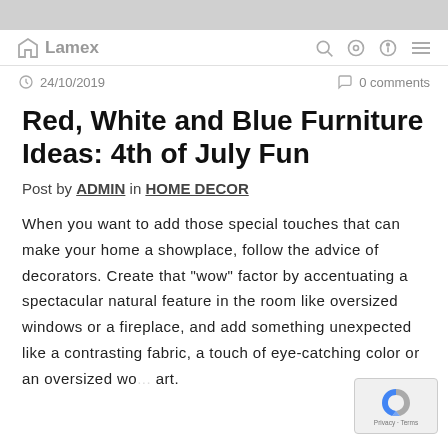Lamex
24/10/2019   0 comments
Red, White and Blue Furniture Ideas: 4th of July Fun
Post by ADMIN in HOME DECOR
When you want to add those special touches that can make your home a showplace, follow the advice of decorators. Create that "wow" factor by accentuating a spectacular natural feature in the room like oversized windows or a fireplace, and add something unexpected like a contrasting fabric, a touch of eye-catching color or an oversized wo... art.